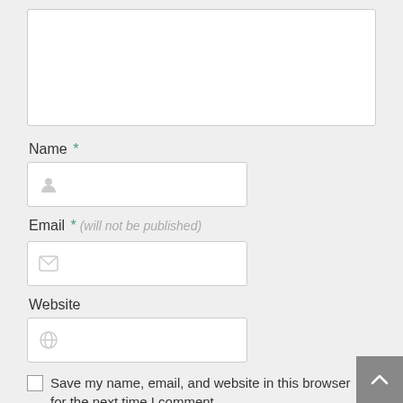[Figure (screenshot): Empty comment textarea input box with white background and light gray border]
Name *
[Figure (screenshot): Name input field with user icon placeholder]
Email * (will not be published)
[Figure (screenshot): Email input field with envelope icon placeholder]
Website
[Figure (screenshot): Website input field with globe icon placeholder]
Save my name, email, and website in this browser for the next time I comment.
Notify me of followup comments via e-mail. You